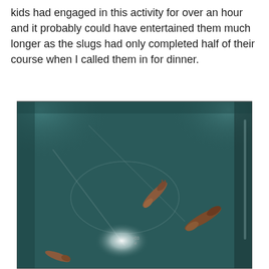kids had engaged in this activity for over an hour and it probably could have entertained them much longer as the slugs had only completed half of their course when I called them in for dinner.
[Figure (photo): A photograph showing two or three slugs crawling inside a dark teal/green plastic container or bin, with slime trails visible on the surface and a bright light reflection near the bottom center.]